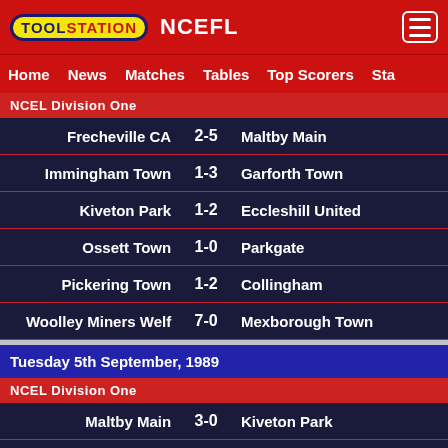TOOLSTATION NCEFL
Home  News  Matches  Tables  Top Scorers  Sta
NCEL Division One
| Home | Score | Away |
| --- | --- | --- |
| Frecheville CA | 2-5 | Maltby Main |
| Immingham Town | 1-3 | Garforth Town |
| Kiveton Park | 1-2 | Eccleshill United |
| Ossett Town | 1-0 | Parkgate |
| Pickering Town | 1-2 | Collingham |
| Woolley Miners Welf | 7-0 | Mexborough Town |
Tuesday 5th September, 1989
NCEL Division One
| Home | Score | Away |
| --- | --- | --- |
| Maltby Main | 3-0 | Kiveton Park |
| York Railway Institute | 0-3 | Rowntree Mackintosh |